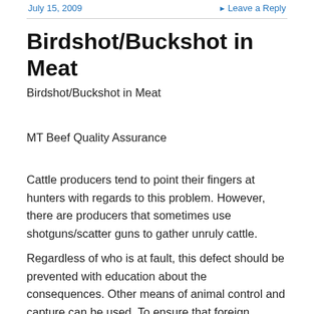July 15, 2009 · Leave a Reply
Birdshot/Buckshot in Meat
Birdshot/Buckshot in Meat
MT Beef Quality Assurance
Cattle producers tend to point their fingers at hunters with regards to this problem. However, there are producers that sometimes use shotguns/scatter guns to gather unruly cattle.
Regardless of who is at fault, this defect should be prevented with education about the consequences. Other means of animal control and capture can be used. To ensure that foreign objects are not found in carcasses,